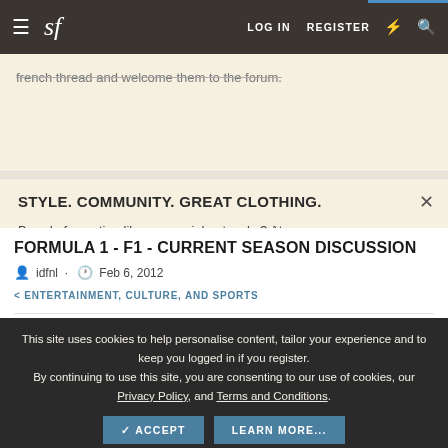sf — LOG IN  REGISTER
french thread and welcome them to the forum.
STYLE. COMMUNITY. GREAT CLOTHING.

Bored of counting likes on social networks? At Styleforum, you'll find rousing discussions that go
This site uses cookies to help personalise content, tailor your experience and to keep you logged in if you register.
By continuing to use this site, you are consenting to our use of cookies, our Privacy Policy, and Terms and Conditions.
✓ ACCEPT    LEARN MORE...
FORMULA 1 - F1 - CURRENT SEASON DISCUSSION
idfnl · Feb 6, 2012
< ENTERTAINMENT, CULTURE, AND SPORTS
NEW POSTS